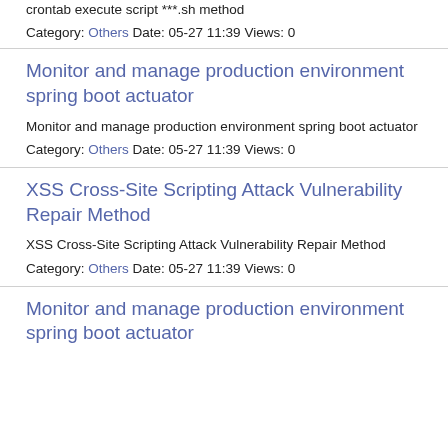crontab execute script ***.sh method
Category: Others Date: 05-27 11:39 Views: 0
Monitor and manage production environment spring boot actuator
Monitor and manage production environment spring boot actuator
Category: Others Date: 05-27 11:39 Views: 0
XSS Cross-Site Scripting Attack Vulnerability Repair Method
XSS Cross-Site Scripting Attack Vulnerability Repair Method
Category: Others Date: 05-27 11:39 Views: 0
Monitor and manage production environment spring boot actuator